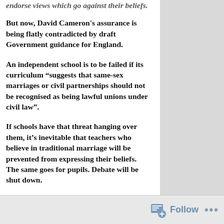endorse views which go against their beliefs.
But now, David Cameron's assurance is being flatly contradicted by draft Government guidance for England.
An independent school is to be failed if its curriculum “suggests that same-sex marriages or civil partnerships should not be recognised as being lawful unions under civil law”.
If schools have that threat hanging over them, it’s inevitable that teachers who believe in traditional marriage will be prevented from expressing their beliefs. The same goes for pupils. Debate will be shut down.
Many of those who voted in favour of same-sex marriage weren’t expecting disagreement to be forbidden. They weren’t voting for traditional marriage supporters to be gagged. They took promises about free speech – including David Cameron’s – at face value.
Follow ...